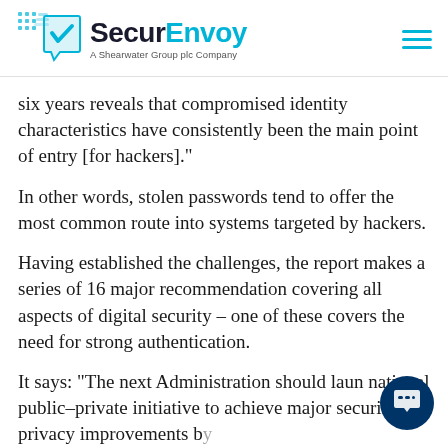SecurEnvoy – A Shearwater Group plc Company
six years reveals that compromised identity characteristics have consistently been the main point of entry [for hackers]."
In other words, stolen passwords tend to offer the most common route into systems targeted by hackers.
Having established the challenges, the report makes a series of 16 major recommendation covering all aspects of digital security – one of these covers the need for strong authentication.
It says: “The next Administration should launch a national public–private initiative to achieve major security and privacy improvements by